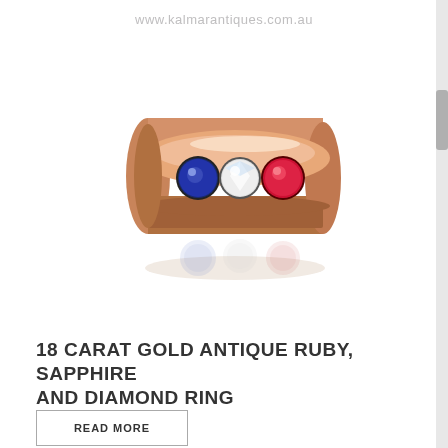www.kalmarantiques.com.au
[Figure (photo): An 18 carat gold antique ring set with three flush-set gemstones in a row: a blue sapphire on the left, a white diamond in the center, and a red ruby on the right. The ring has a smooth, rounded gold band. A reflection of the gemstones is visible below the ring on the white surface.]
18 CARAT GOLD ANTIQUE RUBY, SAPPHIRE AND DIAMOND RING
READ MORE